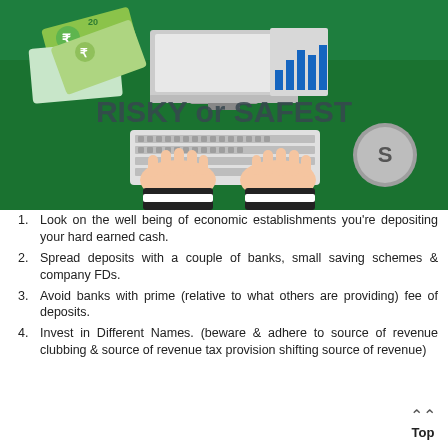[Figure (illustration): Green background illustration showing a desk top view with hands typing on a keyboard, Indian rupee currency notes, a computer monitor, and a bar chart. Text overlay reads 'RISKY or SAFEST'.]
Look on the well being of economic establishments you're depositing your hard earned cash.
Spread deposits with a couple of banks, small saving schemes & company FDs.
Avoid banks with prime (relative to what others are providing) fee of deposits.
Invest in Different Names. (beware & adhere to source of revenue clubbing & source of revenue tax provision shifting source of revenue)